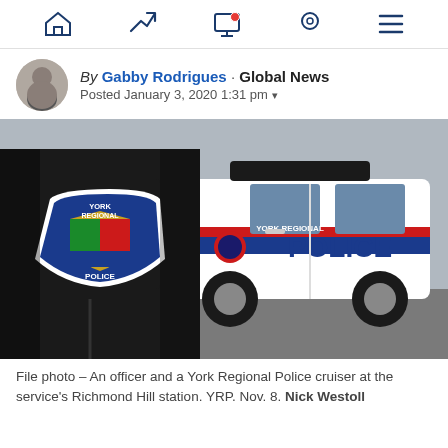Navigation bar with home, trending, notifications, location, and menu icons
By Gabby Rodrigues · Global News
Posted January 3, 2020 1:31 pm
[Figure (photo): A York Regional Police officer in uniform (shoulder patch visible reading YORK REGIONAL POLICE) standing in front of a white York Regional Police SUV cruiser with blue and red markings in a parking lot.]
File photo – An officer and a York Regional Police cruiser at the service's Richmond Hill station. YRP. Nov. 8. Nick Westoll